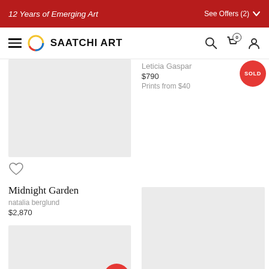12 Years of Emerging Art | See Offers (2)
[Figure (screenshot): Saatchi Art website navigation bar with hamburger menu, logo, search, cart and user icons]
Leticia Gaspar
$790
Prints from $40
[Figure (photo): Artwork image placeholder (gray rectangle) — left column, top artwork]
Midnight Garden
natalia berglund
$2,870
[Figure (photo): Artwork image placeholder (gray rectangle) — right column, bottom artwork]
Juxtaposing